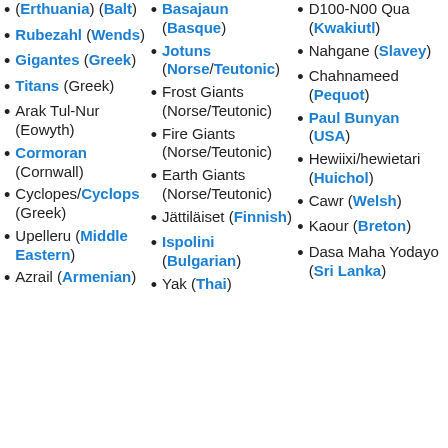(Erthuania) (Balt)
Rubezahl (Wends)
Gigantes (Greek)
Titans (Greek)
Arak Tul-Nur (Eowyth)
Cormoran (Cornwall)
Cyclopes/Cyclops (Greek)
Upelleru (Middle Eastern)
Azrail (Armenian)
Basajaun (Basque)
Jotuns (Norse/Teutonic)
Frost Giants (Norse/Teutonic)
Fire Giants (Norse/Teutonic)
Earth Giants (Norse/Teutonic)
Jättiläiset (Finnish)
Ispolini (Bulgarian)
Yak (Thai)
D100-N00 Qua (Kwakiutl)
Nahgane (Slavey)
Chahnameed (Pequot)
Paul Bunyan (USA)
Hewiixi/hewietari (Huichol)
Cawr (Welsh)
Kaour (Breton)
Dasa Maha Yodayo (Sri Lanka)